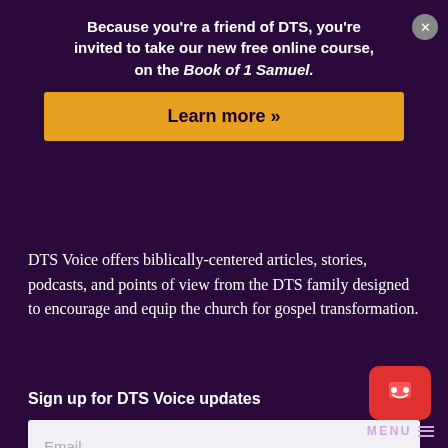Because you're a friend of DTS, you're invited to take our new free online course, on the Book of 1 Samuel.
Learn more »
DTS Voice offers biblically-centered articles, stories, podcasts, and points of view from the DTS family designed to encourage and equip the church for gospel transformation.
Sign up for DTS Voice updates
Email
Subscribe →
MENU